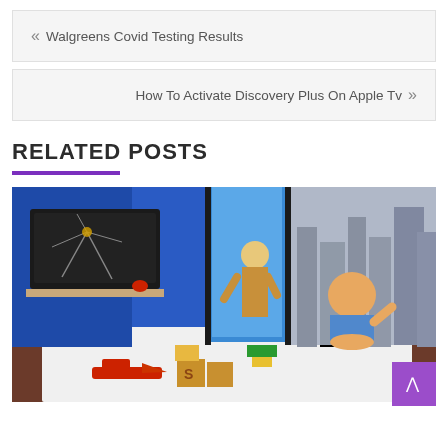« Walgreens Covid Testing Results
How To Activate Discovery Plus On Apple Tv »
RELATED POSTS
[Figure (photo): Animated 3D scene showing a baby in a blue room with broken TV on wall, a blonde child character, toys on a bed including a toy plane, building blocks, and a cityscape wallpaper in the background.]